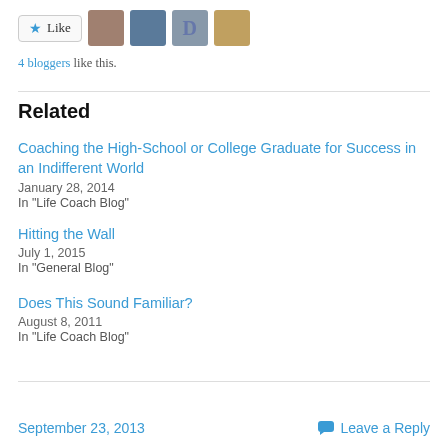[Figure (other): Like button with star icon and four blogger avatar thumbnails]
4 bloggers like this.
Related
Coaching the High-School or College Graduate for Success in an Indifferent World
January 28, 2014
In "Life Coach Blog"
Hitting the Wall
July 1, 2015
In "General Blog"
Does This Sound Familiar?
August 8, 2011
In "Life Coach Blog"
September 23, 2013   Leave a Reply